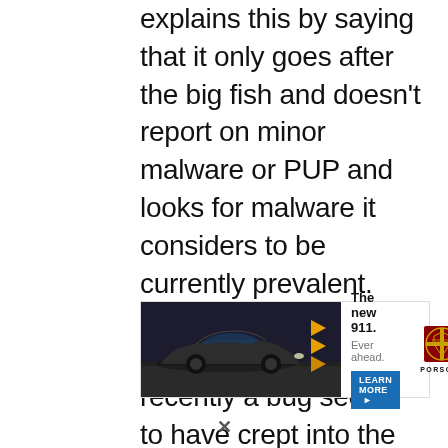explains this by saying that it only goes after the big fish and doesn't report on minor malware or PUP and looks for malware it considers to be currently prevalent. This admission is disconcerting. Also, recently a bug seems to have crept into the MS malware tools during scan: if you watch the status during a scan, it will tell you that it has detected something, but when the scan
[Figure (infographic): Porsche advertisement banner showing a dark sports car (Porsche 911) on a road with yellow chevron road signs in background. Text reads 'The new 911. Ever ahead.' with a 'LEARN MORE' button and Porsche crest logo.]